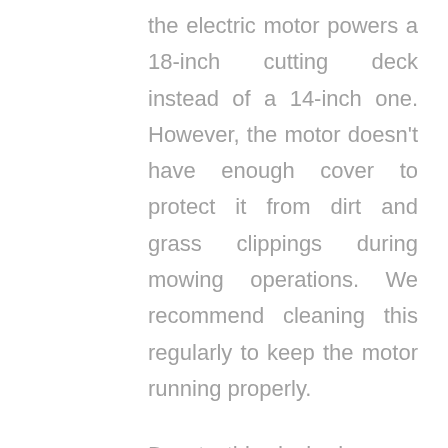the electric motor powers a 18-inch cutting deck instead of a 14-inch one. However, the motor doesn't have enough cover to protect it from dirt and grass clippings during mowing operations. We recommend cleaning this regularly to keep the motor running properly.
Due to this deck size, you should not expect it to mow as fast as the Sun Joe lawn mower does. Still, this deck